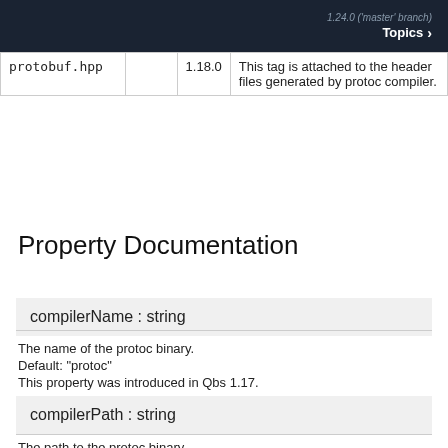1.24.0 ('master' branch) Topics >
|  |  |  |  |
| --- | --- | --- | --- |
| protobuf.hpp |  | 1.18.0 | This tag is attached to the header files generated by protoc compiler. |
Property Documentation
compilerName : string
The name of the protoc binary.
Default: "protoc"
This property was introduced in Qbs 1.17.
compilerPath : string
The path to the protoc binary.